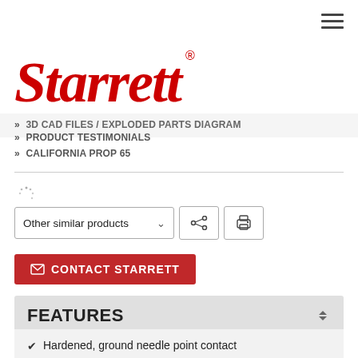[Figure (logo): Starrett logo in red italic serif font with registered trademark symbol]
» 3D CAD FILES / EXPLODED PARTS DIAGRAM
» PRODUCT TESTIMONIALS
» CALIFORNIA PROP 65
[Figure (screenshot): UI controls: Other similar products dropdown, share icon button, print icon button]
CONTACT STARRETT
FEATURES
Hardened, ground needle point contact
Knife-edge base which can be precisely positioned for close